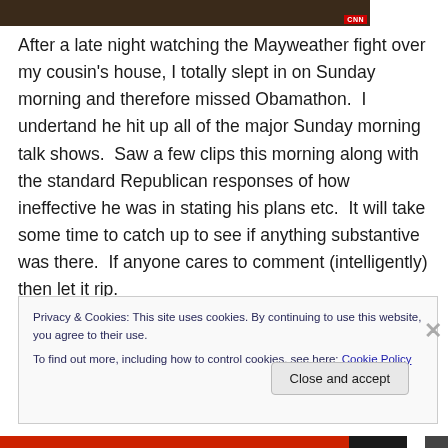[Figure (screenshot): Dark screenshot image with CNN badge in bottom-right corner]
After a late night watching the Mayweather fight over my cousin's house, I totally slept in on Sunday morning and therefore missed Obamathon.  I undertand he hit up all of the major Sunday morning talk shows.  Saw a few clips this morning along with the standard Republican responses of how ineffective he was in stating his plans etc.  It will take some time to catch up to see if anything substantive was there.  If anyone cares to comment (intelligently) then let it rip.
Privacy & Cookies: This site uses cookies. By continuing to use this website, you agree to their use.
To find out more, including how to control cookies, see here: Cookie Policy